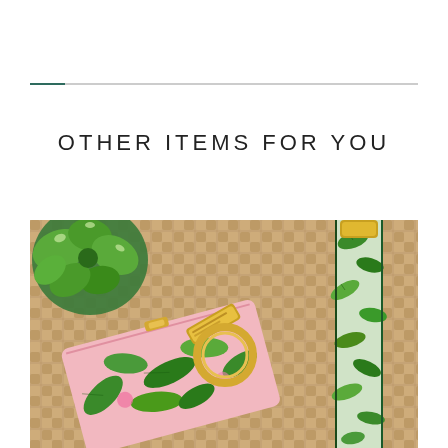OTHER ITEMS FOR YOU
[Figure (photo): Flat lay photo on a woven rattan/wicker surface showing tropical-print accessories: a pink pouch/wristlet with tropical leaf and flamingo print, a gold keychain fob, a gold key ring, and a strap or lanyard with matching tropical green leaf print. A succulent plant is visible in the upper left corner.]